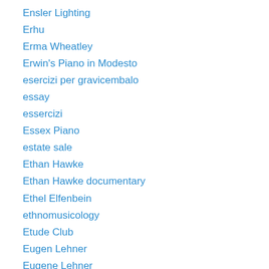Ensler Lighting
Erhu
Erma Wheatley
Erwin's Piano in Modesto
esercizi per gravicembalo
essay
essercizi
Essex Piano
estate sale
Ethan Hawke
Ethan Hawke documentary
Ethel Elfenbein
ethnomusicology
Etude Club
Eugen Lehner
Eugene Lehner
Eugene Ormandy
eurhythmics
Evelyn Glennie
Evgeni Bozhanov